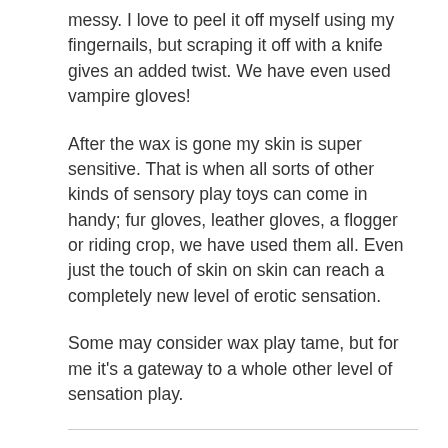messy. I love to peel it off myself using my fingernails, but scraping it off with a knife gives an added twist. We have even used vampire gloves!
After the wax is gone my skin is super sensitive. That is when all sorts of other kinds of sensory play toys can come in handy; fur gloves, leather gloves, a flogger or riding crop, we have used them all. Even just the touch of skin on skin can reach a completely new level of erotic sensation.
Some may consider wax play tame, but for me it's a gateway to a whole other level of sensation play.